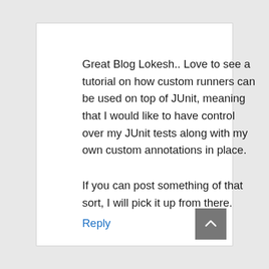Great Blog Lokesh.. Love to see a tutorial on how custom runners can be used on top of JUnit, meaning that I would like to have control over my JUnit tests along with my own custom annotations in place.

If you can post something of that sort, I will pick it up from there.
Reply